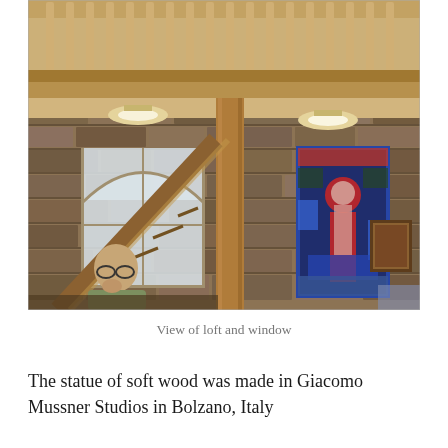[Figure (photo): Interior of a stone church showing a wooden loft railing at the top, a staircase with wooden banister, an arched window, a colorful stained glass window depicting a religious figure (blues, reds, greens), stone walls, ceiling lights, and a bald man sitting at a table in the lower left.]
View of loft and window
The statue of soft wood was made in Giacomo Mussner Studios in Bolzano, Italy